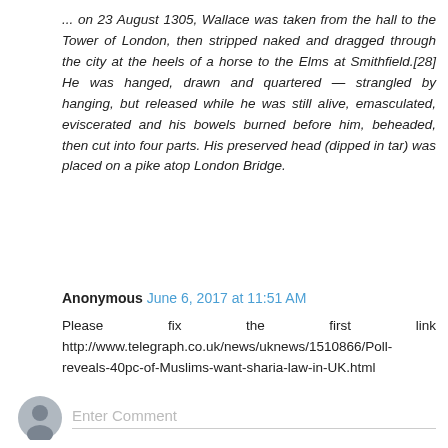... on 23 August 1305, Wallace was taken from the hall to the Tower of London, then stripped naked and dragged through the city at the heels of a horse to the Elms at Smithfield.[28] He was hanged, drawn and quartered — strangled by hanging, but released while he was still alive, emasculated, eviscerated and his bowels burned before him, beheaded, then cut into four parts. His preserved head (dipped in tar) was placed on a pike atop London Bridge.
Reply
Anonymous June 6, 2017 at 11:51 AM
Please fix the first link http://www.telegraph.co.uk/news/uknews/1510866/Poll-reveals-40pc-of-Muslims-want-sharia-law-in-UK.html
Reply
Enter Comment